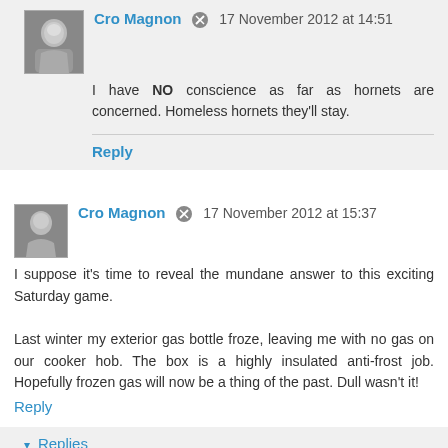Cro Magnon [edit icon] 17 November 2012 at 14:51
I have NO conscience as far as hornets are concerned. Homeless hornets they'll stay.
Reply
Cro Magnon [edit icon] 17 November 2012 at 15:37
I suppose it's time to reveal the mundane answer to this exciting Saturday game.

Last winter my exterior gas bottle froze, leaving me with no gas on our cooker hob. The box is a highly insulated anti-frost job. Hopefully frozen gas will now be a thing of the past. Dull wasn't it!
Reply
▼ Replies
Anonymous 17 November 2012 at 18:02